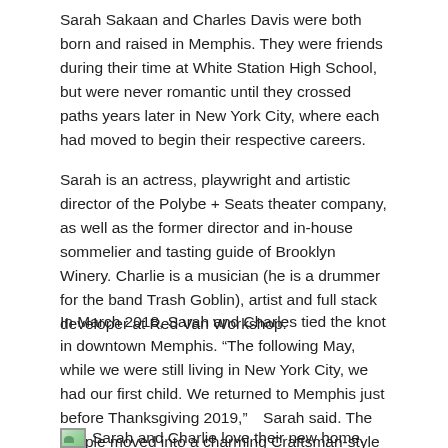Sarah Sakaan and Charles Davis were both born and raised in Memphis. They were friends during their time at White Station High School, but were never romantic until they crossed paths years later in New York City, where each had moved to begin their respective careers.
Sarah is an actress, playwright and artistic director of the Polybe + Seats theater company, as well as the former director and in-house sommelier and tasting guide of Brooklyn Winery. Charlie is a musician (he is a drummer for the band Trash Goblin), artist and full stack developer at Red Van Workshop.
In March 2018, Sarah and Charles tied the knot in downtown Memphis. “The following May, while we were still living in New York City, we had our first child. We returned to Memphis just before Thanksgiving 2019,” Sarah said. The couple moved into a charming Craftsman-style bungalow on Goodbar in Midtown.
Sarah and Charlie love their new home.